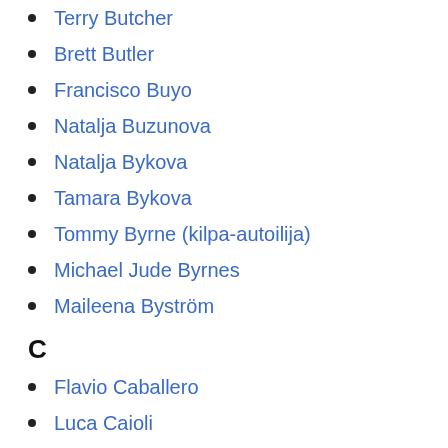Terry Butcher
Brett Butler
Francisco Buyo
Natalja Buzunova
Natalja Bykova
Tamara Bykova
Tommy Byrne (kilpa-autoilija)
Michael Jude Byrnes
Maileena Byström
C
Flavio Caballero
Luca Caioli